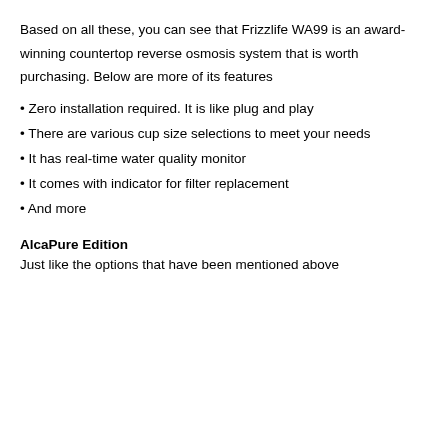Based on all these, you can see that Frizzlife WA99 is an award-winning countertop reverse osmosis system that is worth purchasing. Below are more of its features
• Zero installation required. It is like plug and play
• There are various cup size selections to meet your needs
• It has real-time water quality monitor
• It comes with indicator for filter replacement
• And more
AlcaPure Edition
Just like the options that have been mentioned above